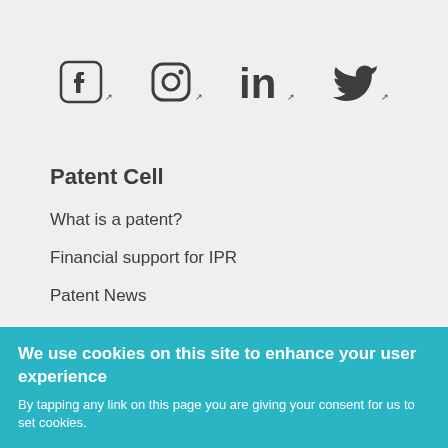[Figure (other): Social media icons: Facebook, Instagram, LinkedIn, Twitter, each with external link markers]
Patent Cell
What is a patent?
Financial support for IPR
Patent News
Standardisation
We use cookies on this site to enhance your user experience
By tapping any link on this page you are giving your consent for us to set cookies.